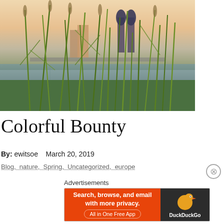[Figure (photo): Photograph of tall green reeds/grass in foreground beside a river, with a city skyline featuring twin-spired church towers and bridge in background under a warm sunset sky.]
Colorful Bounty
By:  ewitsoe    March 20, 2019
Blog, nature, Spring, Uncategorized, europe
Advertisements
[Figure (screenshot): DuckDuckGo advertisement banner: orange left panel reading 'Search, browse, and email with more privacy. All in One Free App' and dark right panel with DuckDuckGo duck logo.]